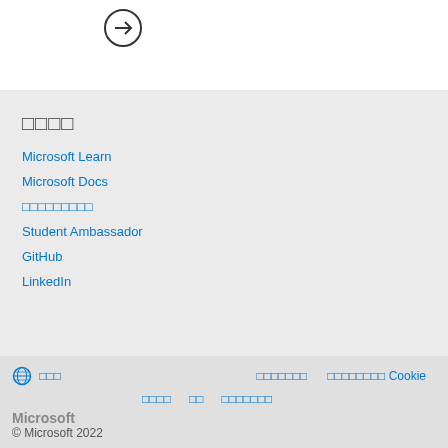[Figure (other): Arrow icon (right-pointing circle arrow button)]
□□□□
Microsoft Learn
Microsoft Docs
□□□□□□□□□
Student Ambassador
GitHub
LinkedIn
□□□ □□□□□□□ □□□□□□□ Cookie □□□□ □□ □□□□□□□ Microsoft © Microsoft 2022